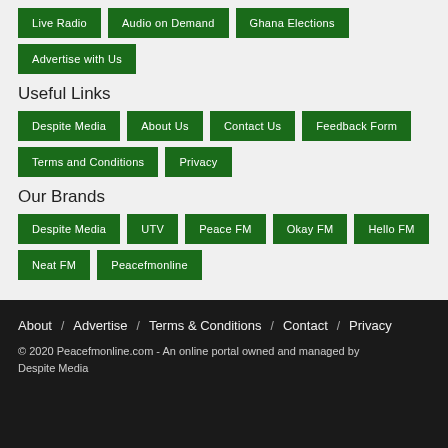Live Radio
Audio on Demand
Ghana Elections
Advertise with Us
Useful Links
Despite Media
About Us
Contact Us
Feedback Form
Terms and Conditions
Privacy
Our Brands
Despite Media
UTV
Peace FM
Okay FM
Hello FM
Neat FM
Peacefmonline
About / Advertise / Terms & Conditions / Contact / Privacy
© 2020 Peacefmonline.com - An online portal owned and managed by Despite Media